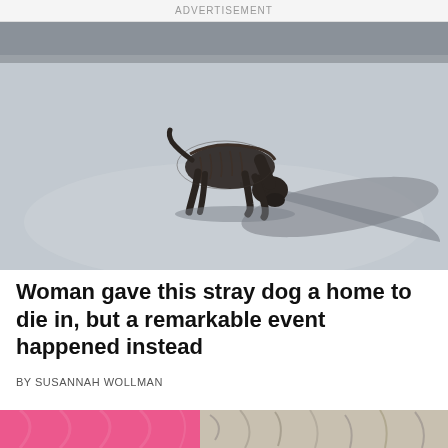ADVERTISEMENT
[Figure (photo): A severely emaciated stray dog bending down toward the ground on a paved road, with strong sunlight casting a dark shadow beside it. The dog appears very thin with visible ribs and spine.]
Woman gave this stray dog a home to die in, but a remarkable event happened instead
BY SUSANNAH WOLLMAN
[Figure (photo): Partial view of a dog wrapped in a pink blanket, cropped at the bottom of the page.]